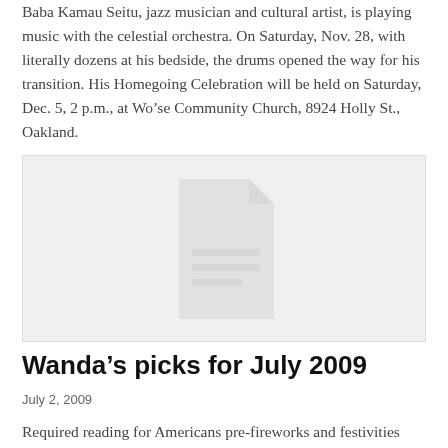Baba Kamau Seitu, jazz musician and cultural artist, is playing music with the celestial orchestra. On Saturday, Nov. 28, with literally dozens at his bedside, the drums opened the way for his transition. His Homegoing Celebration will be held on Saturday, Dec. 5, 2 p.m., at Wo’se Community Church, 8924 Holly St., Oakland.
[Figure (illustration): Gray placeholder image with a document icon in the center]
Wanda’s picks for July 2009
July 2, 2009
Required reading for Americans pre-fireworks and festivities should be an important speech given by abolitionist and former